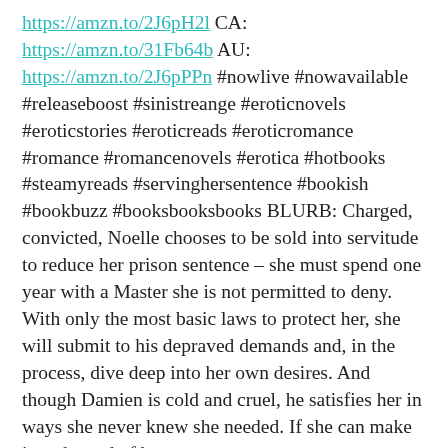https://amzn.to/2J6pH2l CA: https://amzn.to/31Fb64b AU: https://amzn.to/2J6pPPn #nowlive #nowavailable #releaseboost #sinistreange #eroticnovels #eroticstories #eroticreads #eroticromance #romance #romancenovels #erotica #hotbooks #steamyreads #servinghersentence #bookish #bookbuzz #booksbooksbooks BLURB: Charged, convicted, Noelle chooses to be sold into servitude to reduce her prison sentence – she must spend one year with a Master she is not permitted to deny. With only the most basic laws to protect her, she will submit to his depraved demands and, in the process, dive deep into her own desires. And though Damien is cold and cruel, he satisfies her in ways she never knew she needed. If she can make it to the end of her